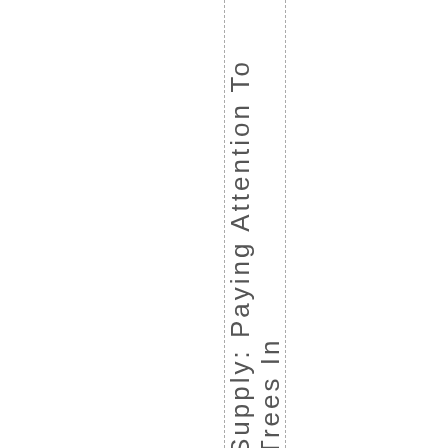Supply: Paying Attention To Trees In